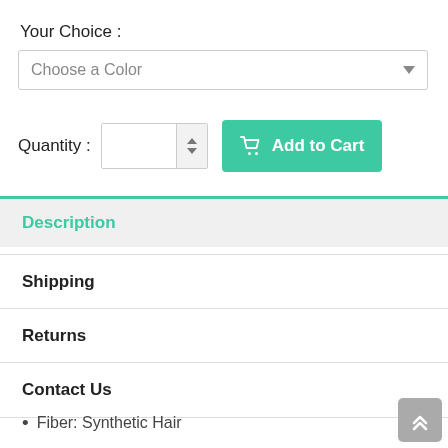Your Choice :
Choose a Color
Quantity :
Add to Cart
Description
Shipping
Returns
Contact Us
Fiber: Synthetic Hair